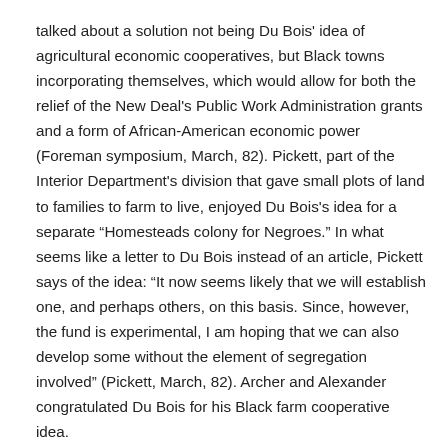talked about a solution not being Du Bois' idea of agricultural economic cooperatives, but Black towns incorporating themselves, which would allow for both the relief of the New Deal's Public Work Administration grants and a form of African-American economic power (Foreman symposium, March, 82). Pickett, part of the Interior Department's division that gave small plots of land to families to farm to live, enjoyed Du Bois's idea for a separate “Homesteads colony for Negroes.” In what seems like a letter to Du Bois instead of an article, Pickett says of the idea: “It now seems likely that we will establish one, and perhaps others, on this basis. Since, however, the fund is experimental, I am hoping that we can also develop some without the element of segregation involved” (Pickett, March, 82). Archer and Alexander congratulated Du Bois for his Black farm cooperative idea.